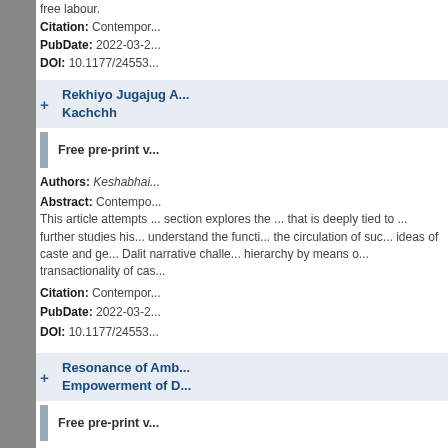free labour.
Citation: Contempor... PubDate: 2022-03-2... DOI: 10.1177/24553...
Rekhiyo Jugajug A... Kachchh
Free pre-print v...
Authors: Keshabhai... Abstract: Contempo... This article attempts ... section explores the ... that is deeply tied to ... further studies its his... understand the functi... the circulation of suc... ideas of caste and ge... Dalit narrative challe... hierarchy by means o... transactionality of cas...
Citation: Contempor... PubDate: 2022-03-2... DOI: 10.1177/24553...
Resonance of Amb... Empowerment of D...
Free pre-print v...